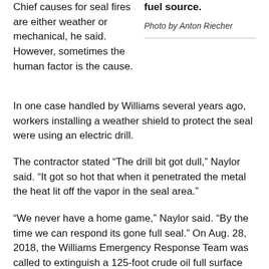Chief causes for seal fires are either weather or mechanical, he said. However, sometimes the human factor is the cause. In one case handled by Williams several years ago, workers installing a weather shield to protect the seal were using an electric drill.
fuel source.
Photo by Anton Riecher
The contractor stated “The drill bit got dull,” Naylor said. “It got so hot that when it penetrated the metal the heat lit off the vapor in the seal area.”
“We never have a home game,” Naylor said. “By the time we can respond its gone full seal.” On Aug. 28, 2018, the Williams Emergency Response Team was called to extinguish a 125-foot crude oil full surface seal fire near Wichita Falls, Texas.